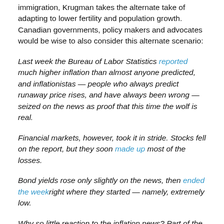immigration, Krugman takes the alternate take of adapting to lower fertility and population growth. Canadian governments, policy makers and advocates would be wise to also consider this alternate scenario:
Last week the Bureau of Labor Statistics reported much higher inflation than almost anyone predicted, and inflationistas — people who always predict runaway price rises, and have always been wrong — seized on the news as proof that this time the wolf is real.
Financial markets, however, took it in stride. Stocks fell on the report, but they soon made up most of the losses.
Bond yields rose only slightly on the news, then ended the week right where they started — namely, extremely low.
Why so little reaction to the inflation news? Part of the